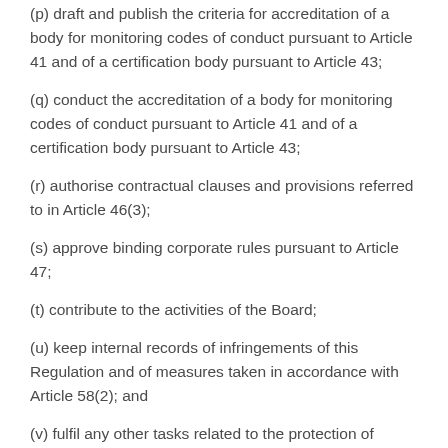(p) draft and publish the criteria for accreditation of a body for monitoring codes of conduct pursuant to Article 41 and of a certification body pursuant to Article 43;
(q) conduct the accreditation of a body for monitoring codes of conduct pursuant to Article 41 and of a certification body pursuant to Article 43;
(r) authorise contractual clauses and provisions referred to in Article 46(3);
(s) approve binding corporate rules pursuant to Article 47;
(t) contribute to the activities of the Board;
(u) keep internal records of infringements of this Regulation and of measures taken in accordance with Article 58(2); and
(v) fulfil any other tasks related to the protection of personal data.
3. Each supervisory authority shall facilitate the